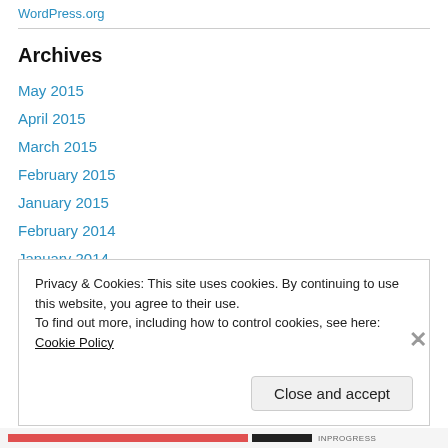WordPress.org
Archives
May 2015
April 2015
March 2015
February 2015
January 2015
February 2014
January 2014
December 2013
November 2013
Privacy & Cookies: This site uses cookies. By continuing to use this website, you agree to their use. To find out more, including how to control cookies, see here: Cookie Policy
Close and accept